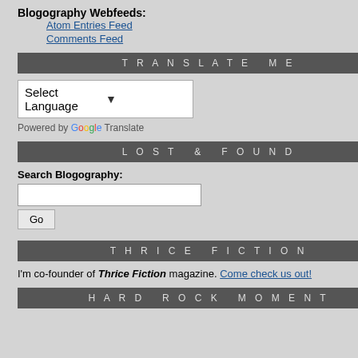Blogography Webfeeds:
Atom Entries Feed
Comments Feed
TRANSLATE ME
Select Language (dropdown) — Powered by Google Translate
LOST & FOUND
Search Blogography: [search input] Go
THRICE FICTION
I'm co-founder of Thrice Fiction magazine. Come check us out!
HARD ROCK MOMENT
Visit DaveCafe for my Hard Rock Cafe
Posted on Wednesday, August 24th, 2011
Hero worship is a stra
Mostly because people get it. I have a friend w constantly. Would sell their sho seems to have some talent, bu eyes because listening to it ma
So when I tell people that I wor
I've been getting the same rea